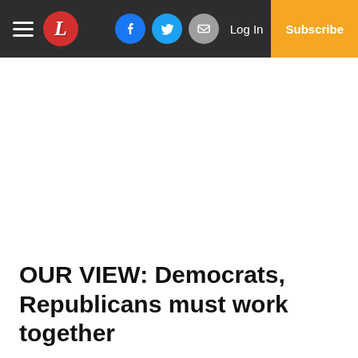Navigation bar with hamburger menu, L logo, Facebook, Twitter, Email social buttons, Log In, Subscribe
OUR VIEW: Democrats, Republicans must work together